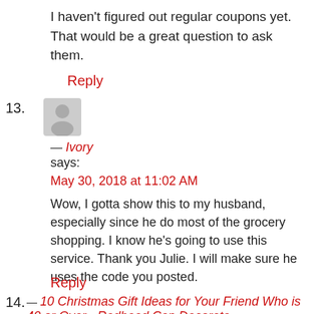I haven't figured out regular coupons yet. That would be a great question to ask them.
Reply
13.
— Ivory
says:
May 30, 2018 at 11:02 AM
Wow, I gotta show this to my husband, especially since he do most of the grocery shopping. I know he's going to use this service. Thank you Julie. I will make sure he uses the code you posted.
Reply
14.
— 10 Christmas Gift Ideas for Your Friend Who is 40 or Over - Redhead Can Decorate
says: